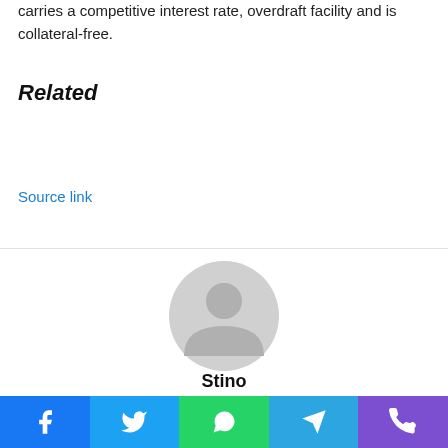carries a competitive interest rate, overdraft facility and is collateral-free.
Related
Source link
[Figure (illustration): Generic user avatar icon — a circular gray silhouette with a person outline]
Stino